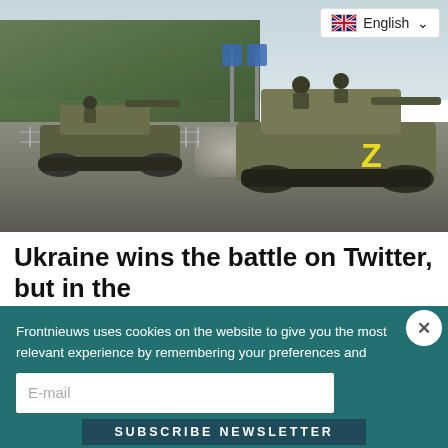[Figure (photo): Military armored vehicles (BTR/APC with Z marking) driving through a city street in Ukraine, with trees and pedestrian crossing signs visible. Soldiers on top of the vehicle on the right.]
Ukraine wins the battle on Twitter, but in the
Frontnieuws uses cookies on the website to give you the most relevant experience by remembering your preferences and repeat visits. By clicking "Accept All" you agree to the use of ALL cookies. However, you can also go to "Cookie
E-mail
Subscribe Newsletter